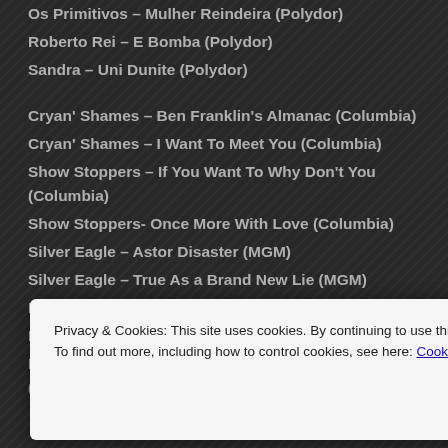Os Primitivos – Mulher Reindeira (Polydor)
Roberto Rei – E Bomba (Polydor)
Sandra – Uni Dunite (Polydor)
Cryan' Shames – Ben Franklin's Almanac (Columbia)
Cryan' Shames – I Want To Meet You (Columbia)
Show Stoppers – If You Want To Why Don't You (Columbia)
Show Stoppers- Once More With Love (Columbia)
Silver Eagle – Astor Disaster (MGM)
Silver Eagle – True As a Brand New Lie (MGM)
Big Jim Sullivan – Tallyman (Mercury)
Big Jim Sullivan – Sunshine Superman (Mercury)
Big Jim Sullivan – Translove Airways (Fat Angel) (Mercury)
Privacy & Cookies: This site uses cookies. By continuing to use this website, you agree to their use.
To find out more, including how to control cookies, see here: Cookie Policy